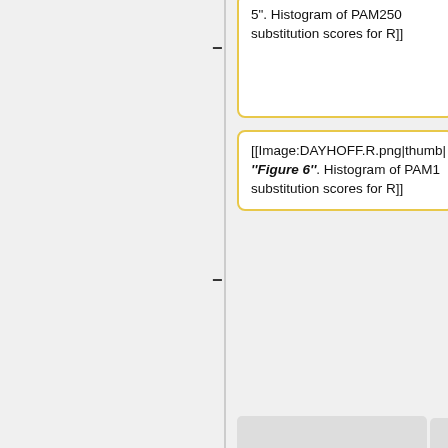5". Histogram of PAM250 substitution scores for R]]
[[Image:DAYHOFF.R.png|thumb| '''Figure 6'''. Histogram of PAM1 substitution scores for R]]
Multiple Alignment(I): 52/76 (based on UniProt BLAST homo. sequences)<br>
[[Image:PAH.PSI PSSM.71.png|thumb| '''Figure 3'''. Histogram of PSI-Blast PSSM conservation scores for position 71]]